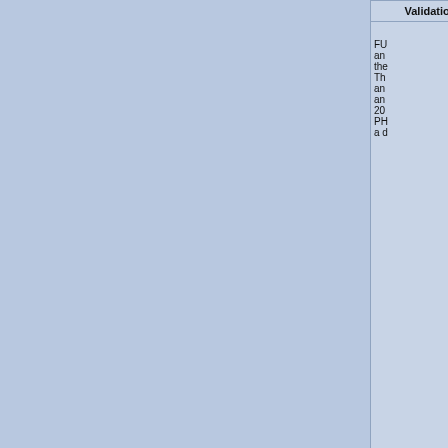| Validation Efficiency | MGI Phenotype | Allele List at MGI | Other mutations in this stock | G | 4 | A | A | A | A |
| --- | --- | --- | --- | --- | --- | --- | --- | --- | --- |
| Validation Efficiency | FU... (text cut off) |
| MGI Phenotype |  |
| Allele List at MGI |  |
| Other mutations in this stock | To... |
| G |  |
| 4 |  |
| A |  |
| A |  |
| A |  |
| A |  |